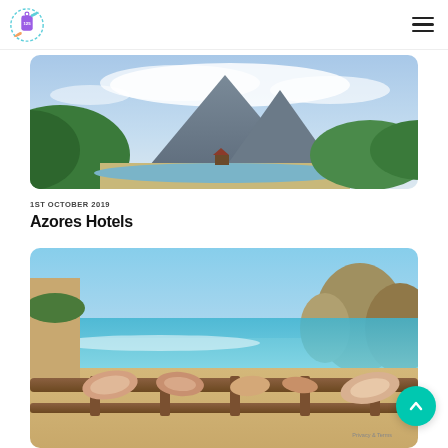Travel125 logo and navigation
[Figure (photo): Landscape photo showing a large volcanic mountain (Pico) with clouds, green hillside in foreground left, sandy beach and lake/lagoon area, blue sky]
1ST OCTOBER 2019
Azores Hotels
[Figure (photo): Beach photo showing seashells arranged on a wooden railing/balustrade in foreground, with a sandy cove beach, turquoise water, and large rock formations in the background]